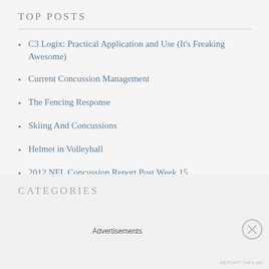TOP POSTS
C3 Logix: Practical Application and Use (It's Freaking Awesome)
Current Concussion Management
The Fencing Response
Skiing And Concussions
Helmet in Volleyball
2012 NFL Concussion Report Post Week 15
This is Interesting. Share Your Thoughts
CATEGORIES
Advertisements